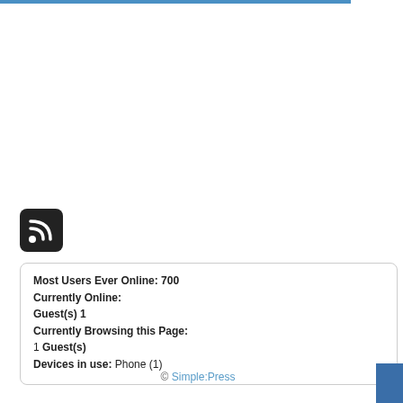[Figure (logo): RSS feed icon — white RSS symbol on black rounded square background]
Most Users Ever Online: 700
Currently Online:
Guest(s) 1
Currently Browsing this Page:
1 Guest(s)
Devices in use: Phone (1)
© Simple:Press